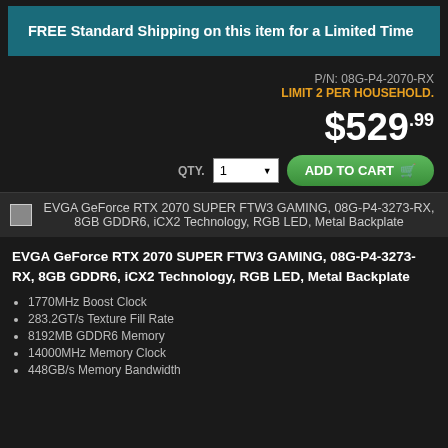FREE Standard Shipping on this item for a Limited Time
P/N: 08G-P4-2070-RX
LIMIT 2 PER HOUSEHOLD.
$529.99
QTY. 1 ADD TO CART
EVGA GeForce RTX 2070 SUPER FTW3 GAMING, 08G-P4-3273-RX, 8GB GDDR6, iCX2 Technology, RGB LED, Metal Backplate
EVGA GeForce RTX 2070 SUPER FTW3 GAMING, 08G-P4-3273-RX, 8GB GDDR6, iCX2 Technology, RGB LED, Metal Backplate
1770MHz Boost Clock
283.2GT/s Texture Fill Rate
8192MB GDDR6 Memory
14000MHz Memory Clock
448GB/s Memory Bandwidth